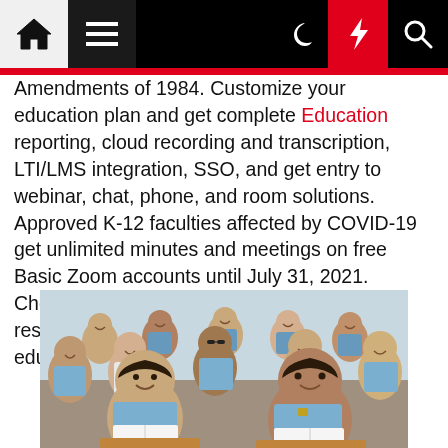[Figure (other): Website navigation bar with home icon, hamburger menu, dark/night mode, lightning/breaking news, and search icons on black background]
Amendments of 1984. Customize your education plan and get complete Education reporting, cloud recording and transcription, LTI/LMS integration, SSO, and get entry to webinar, chat, phone, and room solutions. Approved K-12 faculties affected by COVID-19 get unlimited minutes and meetings on free Basic Zoom accounts until July 31, 2021. Choose from grasp's levels in instructional research, educator preparation, or greater education.
[Figure (photo): Classroom photo showing school children in blue uniforms sitting at desks, smiling at camera, with many students visible in background]